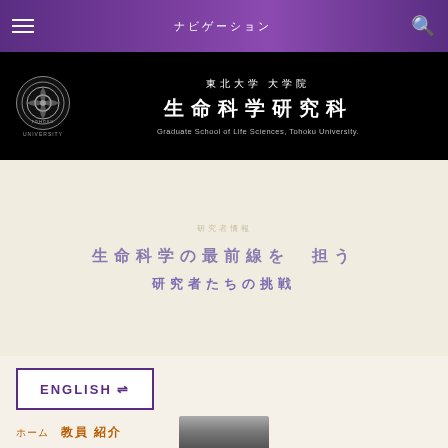ナビゲーション
東北大学 大学院生命科学研究科 Graduate School of Life Sciences, Tohoku University.
[Figure (illustration): Hero banner area with Japanese text overlay on light beige background]
ENGLISH ⇌
ホーム　教員 紹介
[Figure (photo): Partial portrait photo of a person at bottom of page]